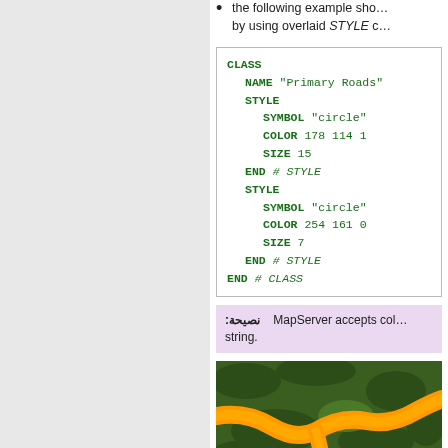the following example shows … by using overlaid STYLE c…
CLASS
  NAME "Primary Roads"
  STYLE
    SYMBOL "circle"
    COLOR 178 114 1
    SIZE 15
  END # STYLE
  STYLE
    SYMBOL "circle"
    COLOR 254 161 0
    SIZE 7
  END # STYLE
END # CLASS
نصيحة: MapServer accepts col… string.
[Figure (photo): Aerial/satellite map image showing a winding orange-highlighted road through dark green forested terrain.]